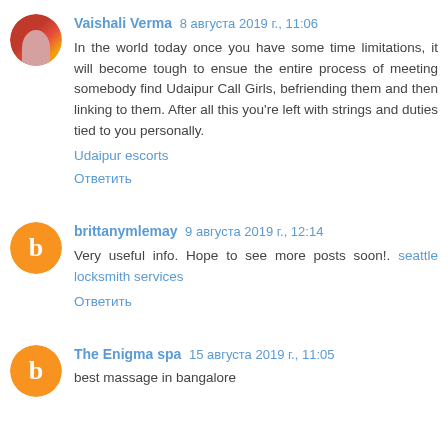Vaishali Verma 8 августа 2019 г., 11:06
In the world today once you have some time limitations, it will become tough to ensue the entire process of meeting somebody find Udaipur Call Girls, befriending them and then linking to them. After all this you're left with strings and duties tied to you personally.
Udaipur escorts
Ответить
brittanymlemay 9 августа 2019 г., 12:14
Very useful info. Hope to see more posts soon!. seattle locksmith services
Ответить
The Enigma spa 15 августа 2019 г., 11:05
best massage in bangalore